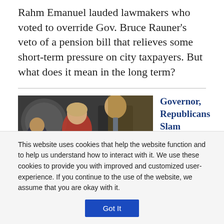Rahm Emanuel lauded lawmakers who voted to override Gov. Bruce Rauner's veto of a pension bill that relieves some short-term pressure on city taxpayers. But what does it mean in the long term?
[Figure (photo): A woman in a red top speaking at a press conference with microphones, a man in a dark suit and blue tie standing behind her, an official seal visible in the background.]
Governor, Republicans Slam Democratic Budget Proposal
This website uses cookies that help the website function and to help us understand how to interact with it. We use these cookies to provide you with improved and customized user-experience. If you continue to the use of the website, we assume that you are okay with it.